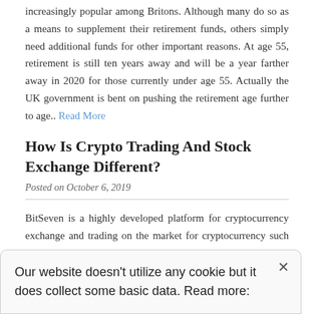increasingly popular among Britons. Although many do so as a means to supplement their retirement funds, others simply need additional funds for other important reasons. At age 55, retirement is still ten years away and will be a year farther away in 2020 for those currently under age 55. Actually the UK government is bent on pushing the retirement age further to age.. Read More
How Is Crypto Trading And Stock Exchange Different?
Posted on October 6, 2019
BitSeven is a highly developed platform for cryptocurrency exchange and trading on the market for cryptocurrency such as Bitcoin, Litecoin,
Our website doesn't utilize any cookie but it does collect some basic data. Read more: